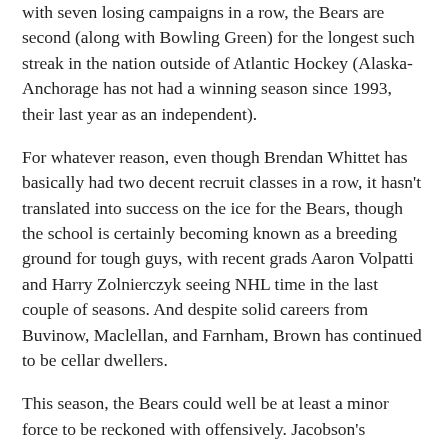with seven losing campaigns in a row, the Bears are second (along with Bowling Green) for the longest such streak in the nation outside of Atlantic Hockey (Alaska-Anchorage has not had a winning season since 1993, their last year as an independent).
For whatever reason, even though Brendan Whittet has basically had two decent recruit classes in a row, it hasn't translated into success on the ice for the Bears, though the school is certainly becoming known as a breeding ground for tough guys, with recent grads Aaron Volpatti and Harry Zolnierczyk seeing NHL time in the last couple of seasons. And despite solid careers from Buvinow, Maclellan, and Farnham, Brown has continued to be cellar dwellers.
This season, the Bears could well be at least a minor force to be reckoned with offensively. Jacobson's freshman year was a very bright point in a difficult season, and Lorito developed nicely as an assist leader as well. Lappin, who led the USHL's Tri-City in scoring last season, comes in to add to the youth movement in Providence, but the discussion on Brown's freshman class will surely revolve around how good